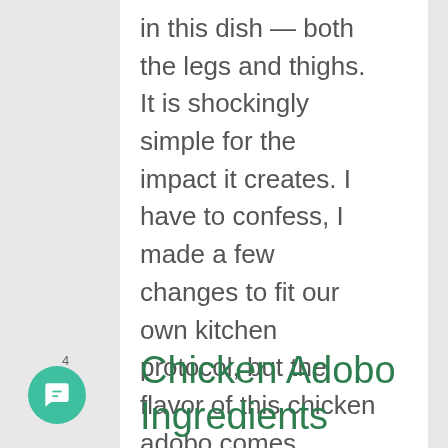in this dish — both the legs and thighs. It is shockingly simple for the impact it creates. I have to confess, I made a few changes to fit our own kitchen protocol, but the flavor of this chicken adobo comes shining through.
Chicken Adobo Ingredients